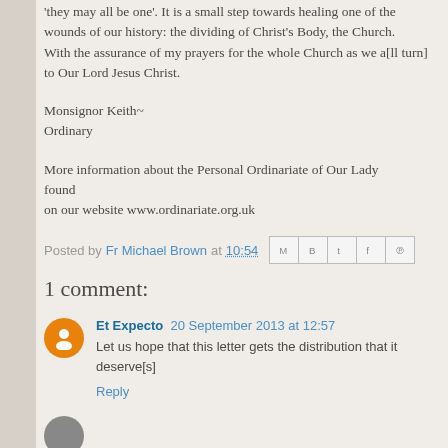'they may all be one'. It is a small step towards healing one of the wounds of our history: the dividing of Christ's Body, the Church. With the assurance of my prayers for the whole Church as we all turn to Our Lord Jesus Christ.
Monsignor Keith~
Ordinary
More information about the Personal Ordinariate of Our Lady can be found on our website www.ordinariate.org.uk
Posted by Fr Michael Brown at 10:54
1 comment:
Et Expecto  20 September 2013 at 12:57
Let us hope that this letter gets the distribution that it deserves.
Reply